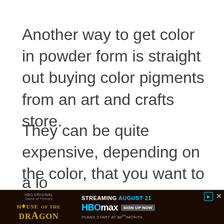Another way to get color in powder form is straight out buying color pigments from an art and crafts store.
They can be quite expensive, depending on the color, that you want to use. But they are useful for many projects and you can go a lo... am...
[Figure (other): Advertisement banner for HBO Max 'House of the Dragon' streaming August 21, plans start at $9.99/month]